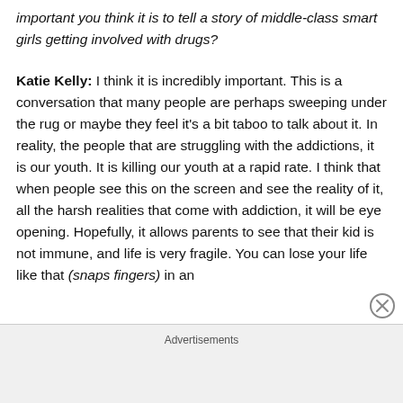important you think it is to tell a story of middle-class smart girls getting involved with drugs?
Katie Kelly: I think it is incredibly important. This is a conversation that many people are perhaps sweeping under the rug or maybe they feel it's a bit taboo to talk about it. In reality, the people that are struggling with the addictions, it is our youth. It is killing our youth at a rapid rate. I think that when people see this on the screen and see the reality of it, all the harsh realities that come with addiction, it will be eye opening. Hopefully, it allows parents to see that their kid is not immune, and life is very fragile. You can lose your life like that (snaps fingers) in an
Advertisements